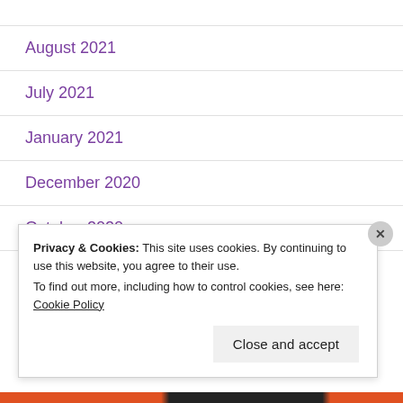August 2021
July 2021
January 2021
December 2020
October 2020
September 2020
Privacy & Cookies: This site uses cookies. By continuing to use this website, you agree to their use.
To find out more, including how to control cookies, see here: Cookie Policy
Close and accept